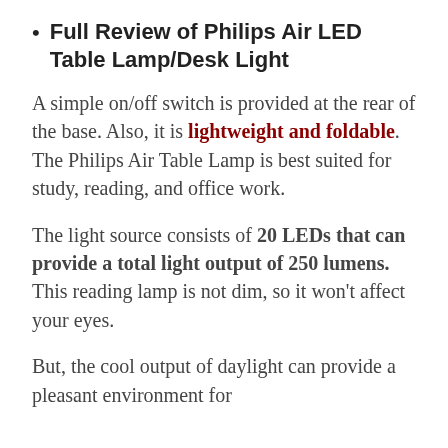Full Review of Philips Air LED Table Lamp/Desk Light
A simple on/off switch is provided at the rear of the base. Also, it is lightweight and foldable. The Philips Air Table Lamp is best suited for study, reading, and office work.
The light source consists of 20 LEDs that can provide a total light output of 250 lumens. This reading lamp is not dim, so it won't affect your eyes.
But, the cool output of daylight can provide a pleasant environment for